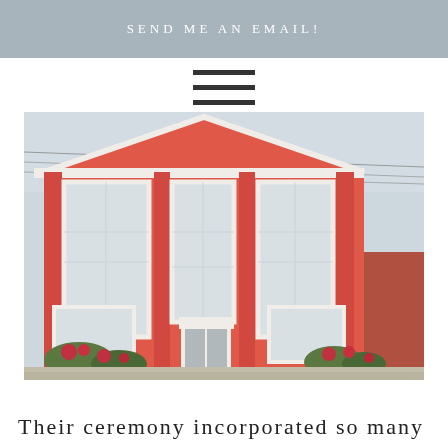SEND ME AN EMAIL!
[Figure (photo): Hamburger/menu icon with three horizontal dark bars]
[Figure (photo): Photograph of a red brick building with Greek Revival architecture, white trim, tall narrow windows, white front door, and flowering shrubs at the base]
Their ceremony incorporated so many